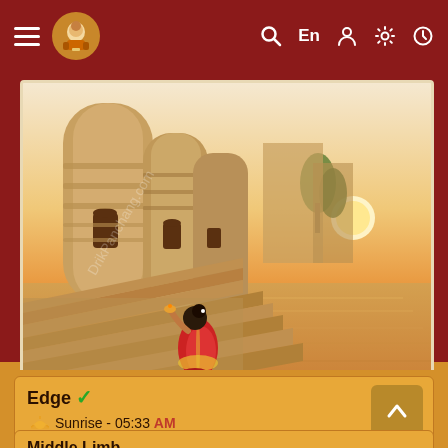≡  [logo]  🔍  En  👤  ⚙  🕐
[Figure (illustration): Illustration of an Indian ghat (riverbank steps) with cylindrical temple towers, a woman in red saree praying at the steps, and a sunset over a calm river. Watermark text 'DrikPanchang.com' visible diagonally. Warm golden and reddish tones.]
Edge ✓
Sunrise - 05:33 AM
Sunset - 06:15 PM
* currently used and suggested by Drik Panchang
Middle Limb